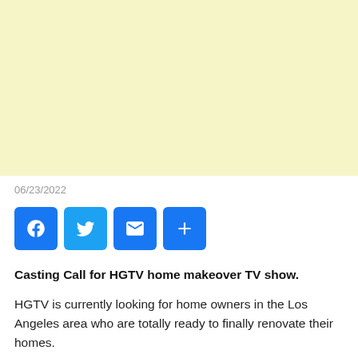[Figure (other): Yellow/cream colored advertisement banner placeholder]
06/23/2022
[Figure (infographic): Social sharing buttons: Facebook (blue), Twitter (light blue), Email (blue envelope icon), More/Share (blue plus icon)]
Casting Call for HGTV home makeover TV show.
HGTV is currently looking for home owners in the Los Angeles area who are totally ready to finally renovate their homes.
Got a kitchen that needs serious help?